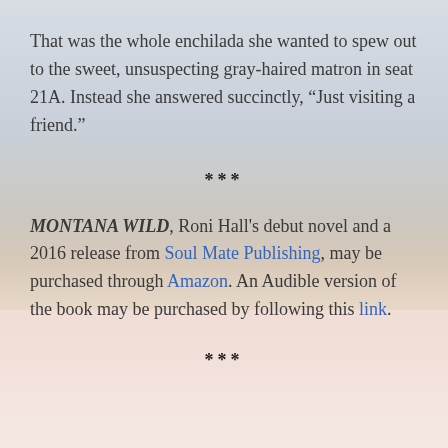That was the whole enchilada she wanted to spew out to the sweet, unsuspecting gray-haired matron in seat 21A. Instead she answered succinctly, “Just visiting a friend.”
***
MONTANA WILD, Roni Hall's debut novel and a 2016 release from Soul Mate Publishing, may be purchased through Amazon. An Audible version of the book may be purchased by following this link.
***